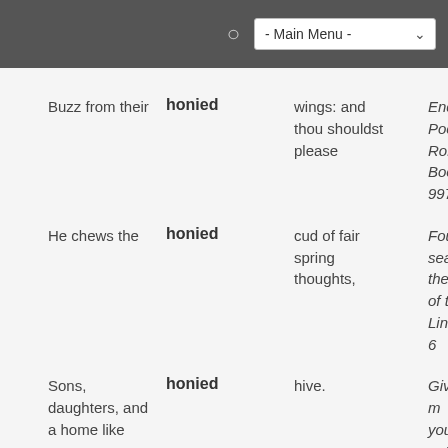- Main Menu -
| Context before | Word | Context after | Source |
| --- | --- | --- | --- |
| Buzz from their | honied | wings: and thou shouldst please | Endymion Poetic Romances Book 997 |
| He chews the | honied | cud of fair spring thoughts, | Four seasons the m of the Line 6 |
| Sons, daughters, and a home like | honied | hive. | Give me your patience sister, I fram |